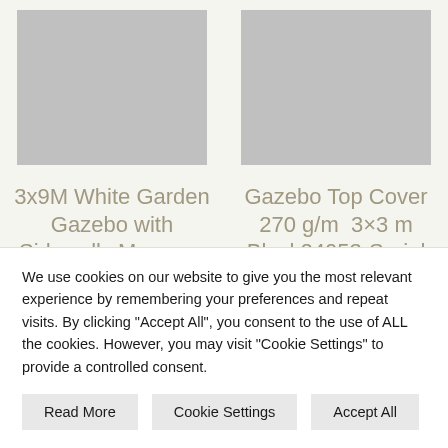[Figure (photo): Gray placeholder image for product 1 (3x9M White Garden Gazebo)]
[Figure (photo): Gray placeholder image for product 2 (Gazebo Top Cover 270 g/m 3x3 m Black)]
3x9M White Garden Gazebo with Sidewalls Marquee Party Tent Canopy
Gazebo Top Cover 270 g/m 3×3 m Black24053-Serial number
We use cookies on our website to give you the most relevant experience by remembering your preferences and repeat visits. By clicking "Accept All", you consent to the use of ALL the cookies. However, you may visit "Cookie Settings" to provide a controlled consent.
Read More
Cookie Settings
Accept All